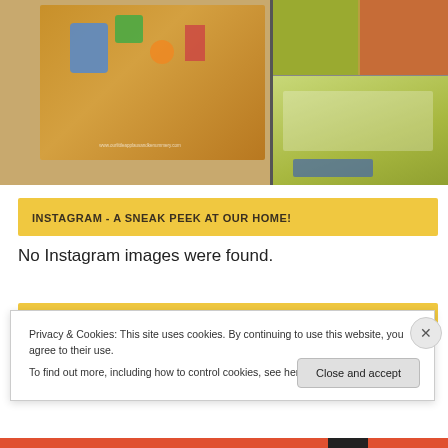[Figure (photo): Top photo strip showing children's crafts/toys on left and close-up images on right]
INSTAGRAM - A SNEAK PEEK AT OUR HOME!
No Instagram images were found.
RANKED:
Privacy & Cookies: This site uses cookies. By continuing to use this website, you agree to their use.
To find out more, including how to control cookies, see here: Cookie Policy
Close and accept